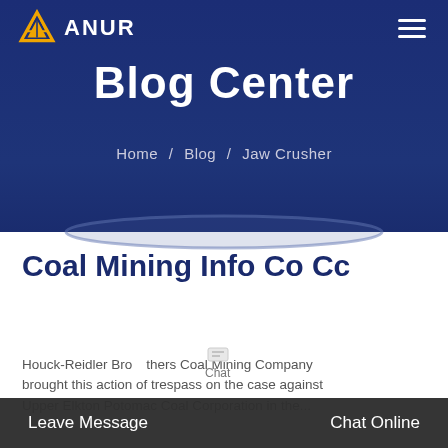ANUR - Blog Center / Home / Blog / Jaw Crusher
Blog Center
Home / Blog / Jaw Crusher
Coal Mining Info Co Cc
Houck-Reidler Brothers Coal Mining Company brought this action of trespass on the case against Upper Elkton Potomac Coal Corporation in the...
Leave Message   Chat Online